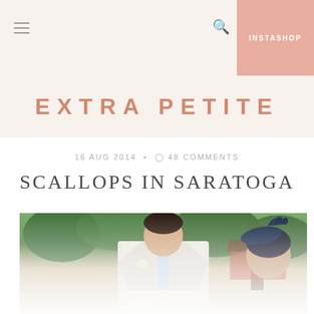INSTASHOP
EXTRA PETITE
16 AUG 2014 • 48 COMMENTS
SCALLOPS IN SARATOGA
[Figure (photo): A man in a white suit with a light blue tie, and a woman wearing a navy fascinator hat with feathers, outdoors with green trees in the background]